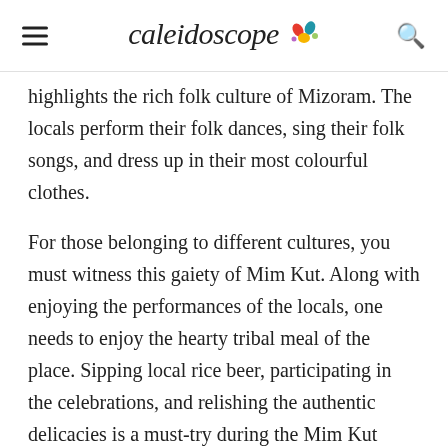Caleidoscope
highlights the rich folk culture of Mizoram. The locals perform their folk dances, sing their folk songs, and dress up in their most colourful clothes.
For those belonging to different cultures, you must witness this gaiety of Mim Kut. Along with enjoying the performances of the locals, one needs to enjoy the hearty tribal meal of the place. Sipping local rice beer, participating in the celebrations, and relishing the authentic delicacies is a must-try during the Mim Kut Festival.
Sume Gelirak Festival